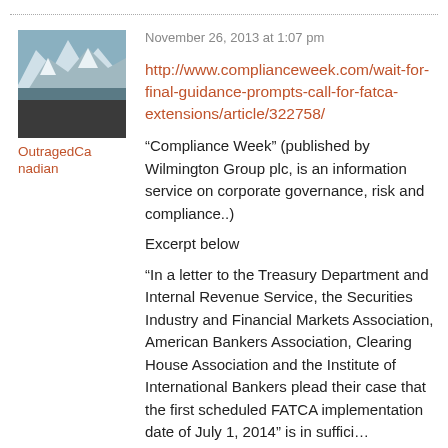[Figure (photo): Avatar image showing a mountain/glacier landscape photo]
OutragedCanadian
November 26, 2013 at 1:07 pm
http://www.complianceweek.com/wait-for-final-guidance-prompts-call-for-fatca-extensions/article/322758/
“Compliance Week” (published by Wilmington Group plc, is an information service on corporate governance, risk and compliance..)
Excerpt below
“In a letter to the Treasury Department and Internal Revenue Service, the Securities Industry and Financial Markets Association, American Bankers Association, Clearing House Association and the Institute of International Bankers plead their case that the first scheduled FATCA implementation date of July 1, 2014” is in sufficient time...